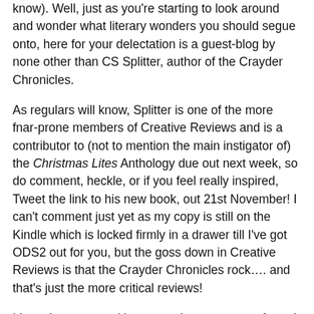know). Well, just as you're starting to look around and wonder what literary wonders you should segue onto, here for your delectation is a guest-blog by none other than CS Splitter, author of the Crayder Chronicles.
As regulars will know, Splitter is one of the more fnar-prone members of Creative Reviews and is a contributor to (not to mention the main instigator of) the Christmas Lites Anthology due out next week, so do comment, heckle, or if you feel really inspired, Tweet the link to his new book, out 21st November! I can't comment just yet as my copy is still on the Kindle which is locked firmly in a drawer till I've got ODS2 out for you, but the goss down in Creative Reviews is that the Crayder Chronicles rock…. and that's just the more critical reviews!
I have been warned by two or three persons of good